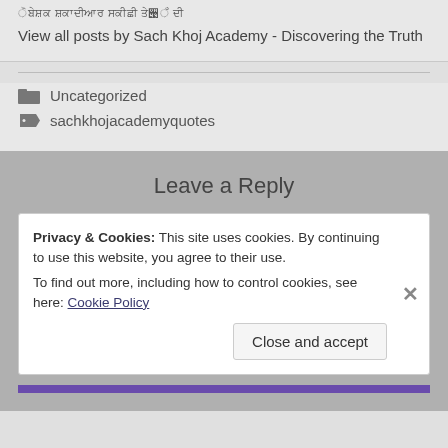View all posts by Sach Khoj Academy - Discovering the Truth
Uncategorized
sachkhojacademyquotes
Leave a Reply
Privacy & Cookies: This site uses cookies. By continuing to use this website, you agree to their use.
To find out more, including how to control cookies, see here: Cookie Policy